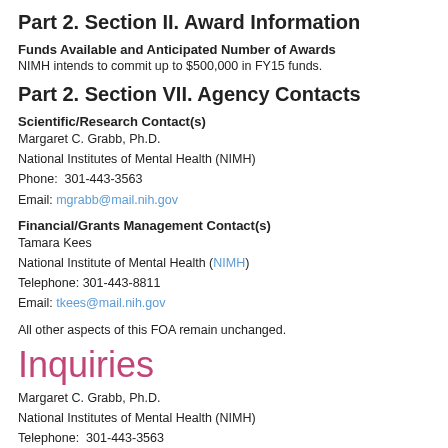Part 2. Section II. Award Information
Funds Available and Anticipated Number of Awards
NIMH intends to commit up to $500,000 in FY15 funds.
Part 2. Section VII. Agency Contacts
Scientific/Research Contact(s)
Margaret C. Grabb, Ph.D.
National Institutes of Mental Health (NIMH)
Phone:  301-443-3563
Email: mgrabb@mail.nih.gov
Financial/Grants Management Contact(s)
Tamara Kees
National Institute of Mental Health (NIMH)
Telephone: 301-443-8811
Email: tkees@mail.nih.gov
All other aspects of this FOA remain unchanged.
Inquiries
Margaret C. Grabb, Ph.D.
National Institutes of Mental Health (NIMH)
Telephone:  301-443-3563